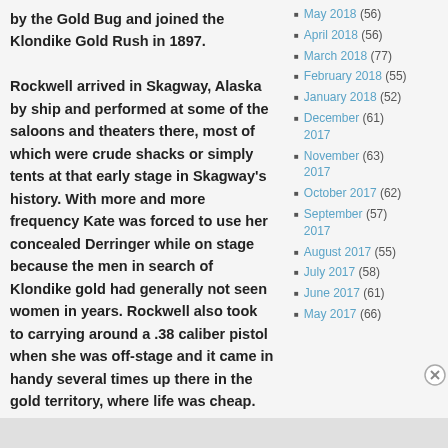by the Gold Bug and joined the Klondike Gold Rush in 1897.

Rockwell arrived in Skagway, Alaska by ship and performed at some of the saloons and theaters there, most of which were crude shacks or simply tents at that early stage in Skagway's history. With more and more frequency Kate was forced to use her concealed Derringer while on stage because the men in search of Klondike gold had generally not seen women in years. Rockwell also took to carrying around a .38 caliber pistol when she was off-stage and it came in handy several times up there in the gold territory, where life was cheap.
Advertisements
May 2018 (56)
April 2018 (56)
March 2018 (77)
February 2018 (55)
January 2018 (52)
December 2017 (61)
November 2017 (63)
October 2017 (62)
September 2017 (57)
August 2017 (55)
July 2017 (58)
June 2017 (61)
May 2017 (66)